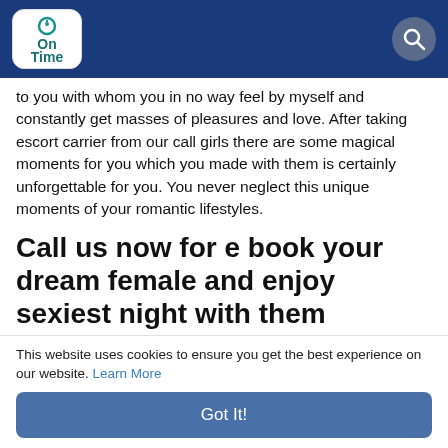[Figure (logo): On Time app logo in white rounded box on blue navigation bar with search icon]
to you with whom you in no way feel by myself and constantly get masses of pleasures and love. After taking escort carrier from our call girls there are some magical moments for you which you made with them is certainly unforgettable for you. You never neglect this unique moments of your romantic lifestyles.
Call us now for e book your dream female and enjoy sexiest night with them
Our employer is the simplest one here who're
This website uses cookies to ensure you get the best experience on our website. Learn More
Got It!